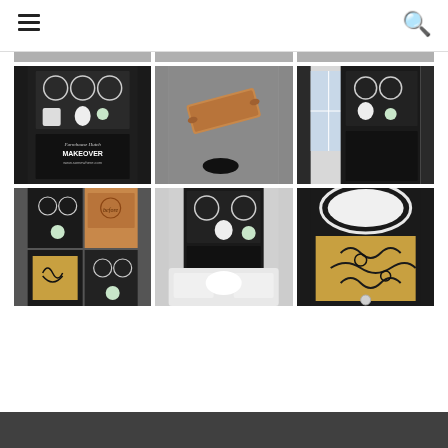[Figure (screenshot): Website page with hamburger menu icon top-left and search icon top-right, showing a grid of furniture makeover photos]